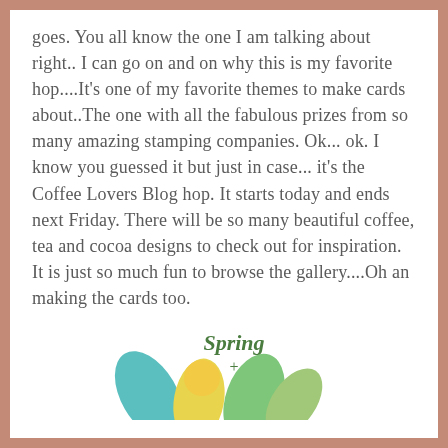goes. You all know the one I am talking about right.. I can go on and on why this is my favorite hop....It's one of my favorite themes to make cards about..The one with all the fabulous prizes from so many amazing stamping companies. Ok... ok. I know you guessed it but just in case... it's the Coffee Lovers Blog hop. It starts today and ends next Friday. There will be so many beautiful coffee, tea and cocoa designs to check out for inspiration. It is just so much fun to browse the gallery....Oh an making the cards too.
[Figure (illustration): Decorative spring and summer illustration with colorful leaves and sun motif, with text 'Spring +' visible]